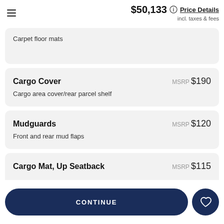$50,133 incl. taxes & fees — Price Details
Carpet floor mats
Cargo Cover — MSRP $190 — Cargo area cover/rear parcel shelf
Mudguards — MSRP $120 — Front and rear mud flaps
Cargo Mat, Up Seatback — MSRP $115
CONTINUE